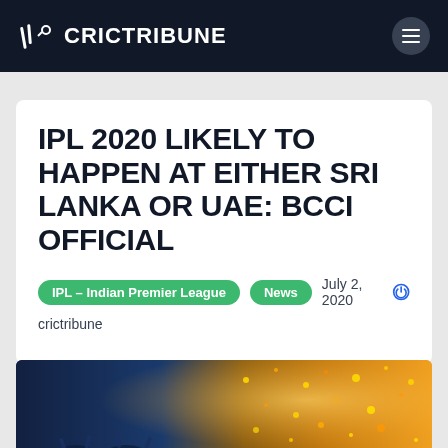CRICTRIBUNE
IPL 2020 LIKELY TO HAPPEN AT EITHER SRI LANKA OR UAE: BCCI OFFICIAL
IPL – Indian Premier League   News   July 2, 2020
crictribune
[Figure (photo): Crowd celebration photo at an IPL event with golden confetti and stadium lights]